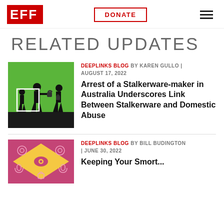EFF | DONATE | Menu
RELATED UPDATES
[Figure (illustration): Green and black graphic showing silhouettes of people walking, with lock icons, suggesting surveillance tracking]
DEEPLINKS BLOG BY KAREN GULLO | AUGUST 17, 2022
Arrest of a Stalkerware-maker in Australia Underscores Link Between Stalkerware and Domestic Abuse
[Figure (illustration): Pink and yellow graphic showing eye and security icons in a diamond pattern, representing digital surveillance themes]
DEEPLINKS BLOG BY BILL BUDINGTON | JUNE 30, 2022
Keeping Your Smart...